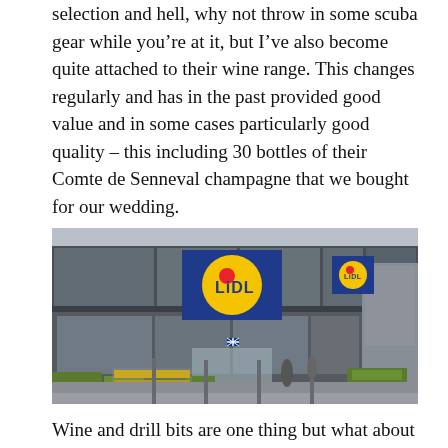selection and hell, why not throw in some scuba gear while you're at it, but I've also become quite attached to their wine range. This changes regularly and has in the past provided good value and in some cases particularly good quality – this including 30 bottles of their Comte de Senneval champagne that we bought for our wedding.
[Figure (photo): Exterior photograph of a Lidl supermarket store showing the building facade with large blue Lidl logo signs featuring yellow circle and red dot, glass frontage, and outdoor plant/produce displays]
Wine and drill bits are one thing but what about their